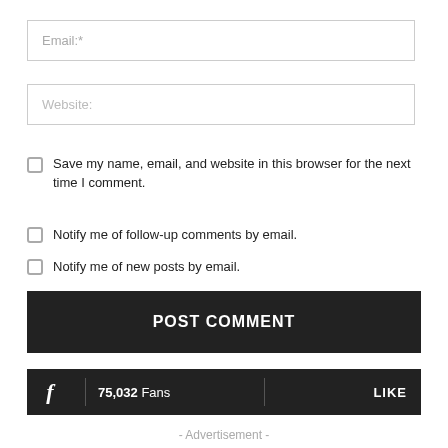Email:*
Website:
Save my name, email, and website in this browser for the next time I comment.
Notify me of follow-up comments by email.
Notify me of new posts by email.
POST COMMENT
75,032  Fans  LIKE
- Advertisement -